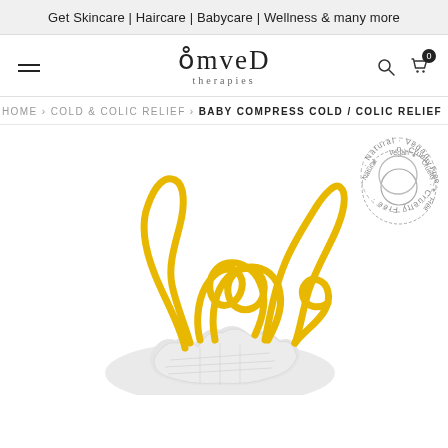Get Skincare | Haircare | Babycare | Wellness & many more
[Figure (logo): Omved Therapies logo with hamburger menu, search icon, and cart icon with 0 badge]
HOME › COLD & COLIC RELIEF › BABY COMPRESS COLD / COLIC RELIEF
[Figure (photo): Baby compress product with yellow ties and grey fabric, shown with yellow ribbon loosely arranged on top. Natural Vegan Cruelty Free circular badge in top right.]